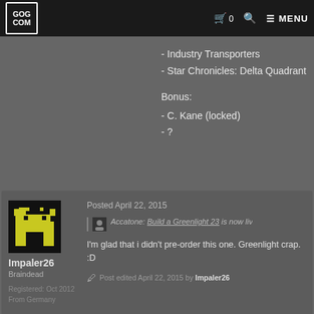GOG.COM | Cart 0 | Search | MENU
- Industry Transporters
- Star Chronicles: Delta Quadrant
Bonus:
- C. Kane (locked)
- ?
Impaler26 | Braindead | Registered: Oct 2012 | From Germany | Posted April 22, 2015
Accatone: Build a Greenlight 23 is now liv...
I'm glad that i didn't pre-order this one. Greenlight crap. :D
Post edited April 22, 2015 by Impaler26
genkicolleen | Posted April 22, 2015